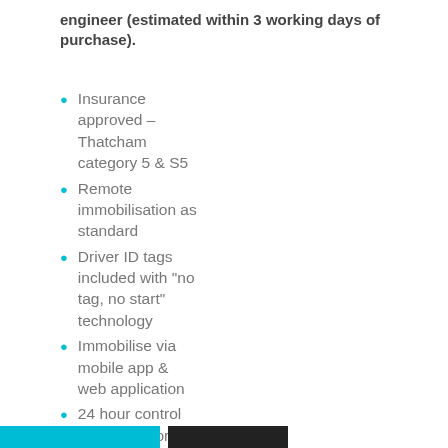engineer (estimated within 3 working days of purchase).
Insurance approved – Thatcham category 5 & S5
Remote immobilisation as standard
Driver ID tags included with "no tag, no start" technology
Immobilise via mobile app & web application
24 hour control room monitoring